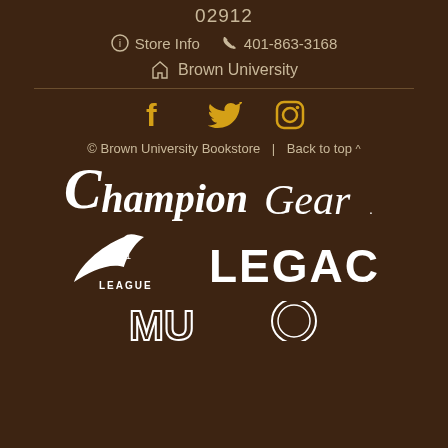02912
Store Info  401-863-3168
Brown University
[Figure (logo): Social media icons: Facebook, Twitter, Instagram in gold/yellow color]
© Brown University Bookstore  |  Back to top ^
[Figure (logo): Champion Gear logo in white]
[Figure (logo): League 91 logo in white]
[Figure (logo): LEGACY logo in white]
[Figure (logo): MU and another brand logo partially visible at bottom]